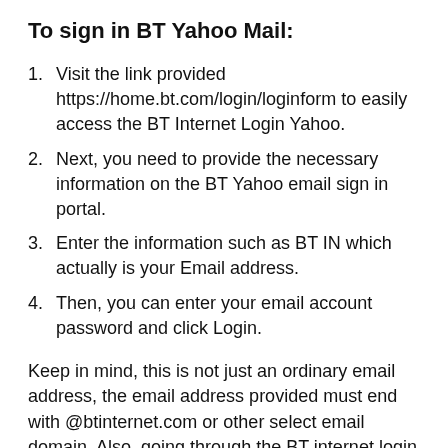To sign in BT Yahoo Mail:
Visit the link provided https://home.bt.com/login/loginform to easily access the BT Internet Login Yahoo.
Next, you need to provide the necessary information on the BT Yahoo email sign in portal.
Enter the information such as BT IN which actually is your Email address.
Then, you can enter your email account password and click Login.
Keep in mind, this is not just an ordinary email address, the email address provided must end with @btinternet.com or other select email domain. Also, going through the BT internet login Yahoo or Bt